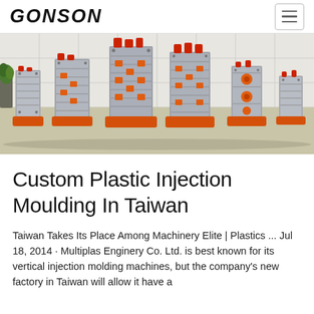GONSON
[Figure (photo): Industrial injection moulding machines/molds displayed in a factory room. Multiple large metallic molds with orange bases and red fittings arranged in a row on a beige floor against a white tiled wall.]
Custom Plastic Injection Moulding In Taiwan
Taiwan Takes Its Place Among Machinery Elite | Plastics ... Jul 18, 2014 · Multiplas Enginery Co. Ltd. is best known for its vertical injection molding machines, but the company's new factory in Taiwan will allow it have a